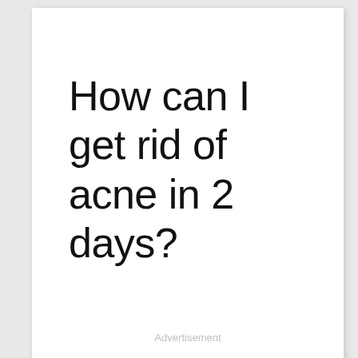How can I get rid of acne in 2 days?
Advertisement